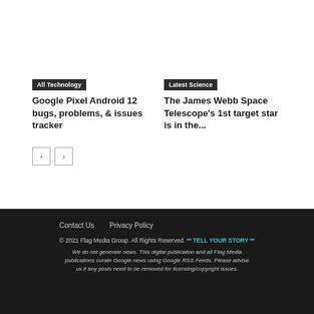All Technology
Google Pixel Android 12 bugs, problems, & issues tracker
Latest Science
The James Webb Space Telescope's 1st target star is in the...
Contact Us   Privacy Policy
© 2021 Flag Media Group. All Rights Reserved. ** TELL YOUR STORY **
We do not generate news. This digital publication and all Flag Media publications curate Google news using Google RSS Feeds. Please advise us if any posts need to be removed for licensing/copyright issues.